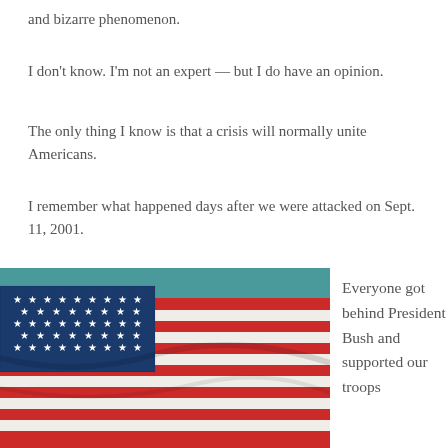and bizarre phenomenon.
I don't know. I'm not an expert — but I do have an opinion.
The only thing I know is that a crisis will normally unite Americans.
I remember what happened days after we were attacked on Sept. 11, 2001.
[Figure (photo): A close-up photograph of an American flag with red and white stripes and a blue field with white stars.]
Everyone got behind President Bush and supported our troops